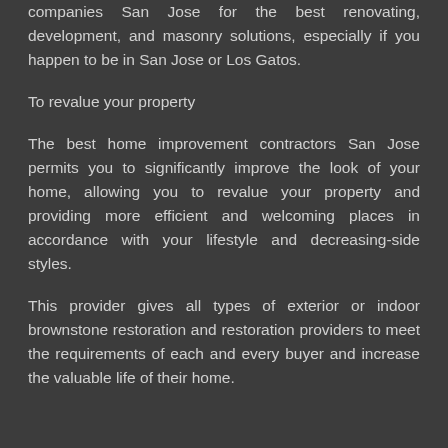companies San Jose for the best renovating, development, and masonry solutions, especially if you happen to be in San Jose or Los Gatos.
To revalue your property
The best home improvement contractors San Jose permits you to significantly improve the look of your home, allowing you to revalue your property and providing more efficient and welcoming places in accordance with your lifestyle and decreasing-side styles.
This provider gives all types of exterior or indoor brownstone restoration and restoration providers to meet the requirements of each and every buyer and increase the valuable life of their home.